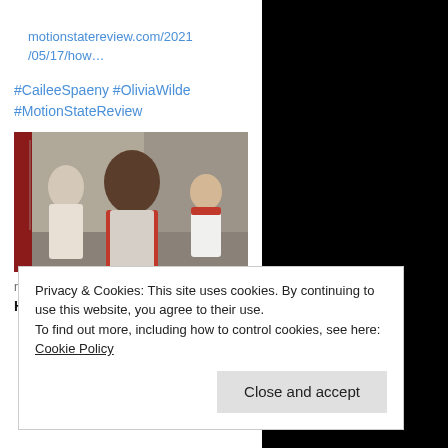motionstatereview.com/2021/05/17/how…
#CaileeSpaeny #OliviaWilde #MotionStateReview
[Figure (photo): Movie scene showing three people in a hallway/locker room setting; a woman in a white blouse on the left, a person with brown hair facing away in the center, and a young person in a red-and-white polo shirt on the right.]
motionstatereview.com
How It Ends (2021)
Privacy & Cookies: This site uses cookies. By continuing to use this website, you agree to their use.
To find out more, including how to control cookies, see here: Cookie Policy
Close and accept